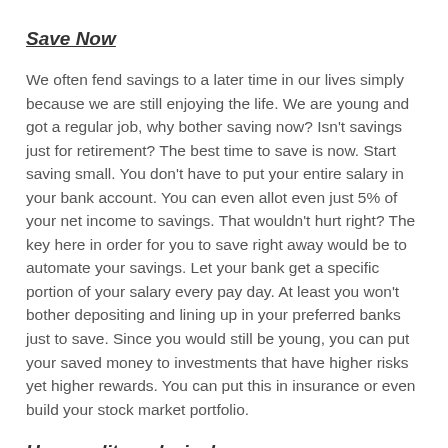Save Now
We often fend savings to a later time in our lives simply because we are still enjoying the life. We are young and got a regular job, why bother saving now? Isn't savings just for retirement? The best time to save is now. Start saving small. You don't have to put your entire salary in your bank account. You can even allot even just 5% of your net income to savings. That wouldn't hurt right? The key here in order for you to save right away would be to automate your savings. Let your bank get a specific portion of your salary every pay day. At least you won't bother depositing and lining up in your preferred banks just to save. Since you would still be young, you can put your saved money to investments that have higher risks yet higher rewards. You can put this in insurance or even build your stock market portfolio.
Use credit card wisely
Credit cards can either be your friend or your foe. It can help you in times of need and it can even ditch you during hard